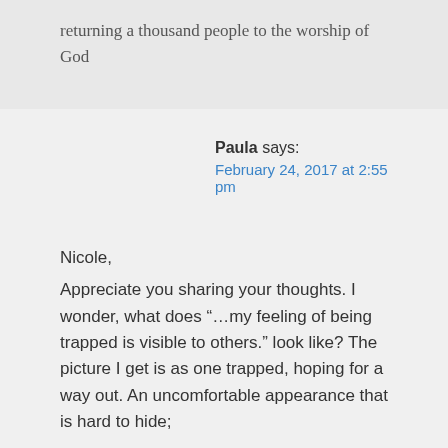returning a thousand people to the worship of God
Paula says:
February 24, 2017 at 2:55 pm
Nicole,
Appreciate you sharing your thoughts. I wonder, what does "…my feeling of being trapped is visible to others." look like? The picture I get is as one trapped, hoping for a way out. An uncomfortable appearance that is hard to hide;